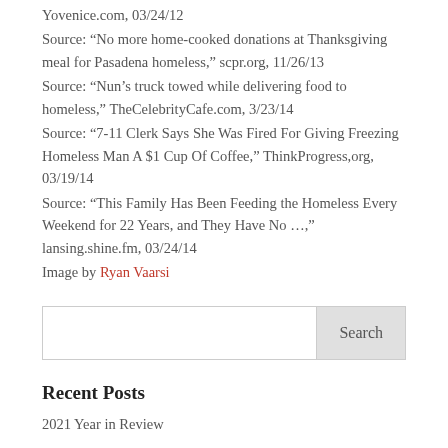Yovenice.com, 03/24/12
Source: “No more home-cooked donations at Thanksgiving meal for Pasadena homeless,” scpr.org, 11/26/13
Source: “Nun’s truck towed while delivering food to homeless,” TheCelebrityCafe.com, 3/23/14
Source: “7-11 Clerk Says She Was Fired For Giving Freezing Homeless Man A $1 Cup Of Coffee,” ThinkProgress,org, 03/19/14
Source: “This Family Has Been Feeding the Homeless Every Weekend for 22 Years, and They Have No …,” lansing.shine.fm, 03/24/14
Image by Ryan Vaarsi
Search
Recent Posts
2021 Year in Review